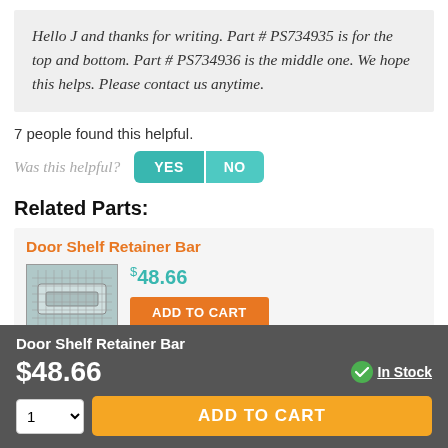Hello J and thanks for writing. Part # PS734935 is for the top and bottom. Part # PS734936 is the middle one. We hope this helps. Please contact us anytime.
7 people found this helpful.
Was this helpful?  YES  NO
Related Parts:
Door Shelf Retainer Bar  $48.66  ADD TO CART
Door Shelf Retainer Bar
$48.66
In Stock
1  ADD TO CART